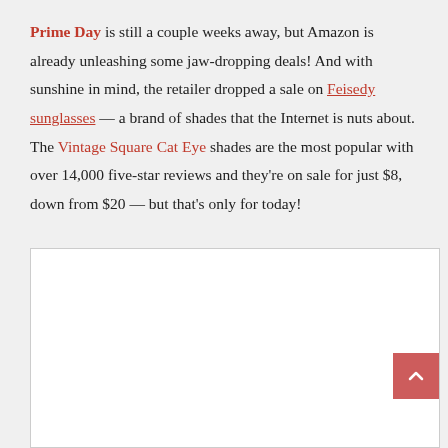Prime Day is still a couple weeks away, but Amazon is already unleashing some jaw-dropping deals! And with sunshine in mind, the retailer dropped a sale on Feisedy sunglasses — a brand of shades that the Internet is nuts about. The Vintage Square Cat Eye shades are the most popular with over 14,000 five-star reviews and they're on sale for just $8, down from $20 — but that's only for today!
[Figure (photo): White rectangular image box with a scroll-to-top button (red/pink square with upward caret) in the bottom right corner.]